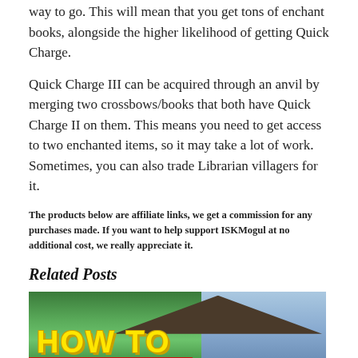way to go. This will mean that you get tons of enchant books, alongside the higher likelihood of getting Quick Charge.
Quick Charge III can be acquired through an anvil by merging two crossbows/books that both have Quick Charge II on them. This means you need to get access to two enchanted items, so it may take a lot of work. Sometimes, you can also trade Librarian villagers for it.
The products below are affiliate links, we get a commission for any purchases made. If you want to help support ISKMogul at no additional cost, we really appreciate it.
Related Posts
[Figure (photo): A gaming-style 'HOW TO' thumbnail image with yellow block text on a green background and red accent bar at the bottom, with a building/house visible on the right side.]